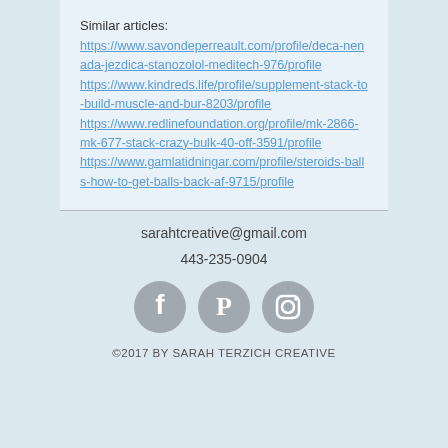Similar articles:
https://www.savondeperreault.com/profile/deca-nenada-jezdica-stanozolol-meditech-976/profile
https://www.kindreds.life/profile/supplement-stack-to-build-muscle-and-bur-8203/profile
https://www.redlinefoundation.org/profile/mk-2866-mk-677-stack-crazy-bulk-40-off-3591/profile
https://www.gamlatidningar.com/profile/steroids-balls-how-to-get-balls-back-af-9715/profile
sarahtcreative@gmail.com
443-235-0904
[Figure (infographic): Three circular social media icons: Facebook, Pinterest, Instagram, in grey color]
©2017 BY SARAH TERZICH CREATIVE